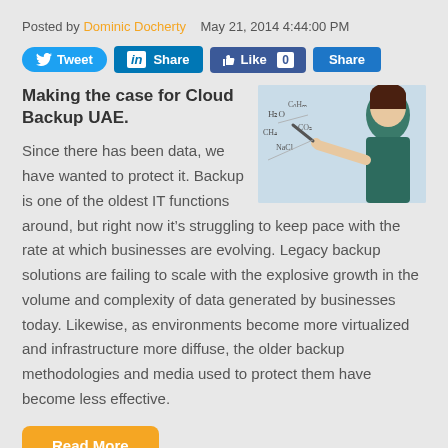Posted by Dominic Docherty   May 21, 2014 4:44:00 PM
[Figure (infographic): Social sharing buttons: Tweet (Twitter), Share (LinkedIn), Like 0 (Facebook), Share (generic blue)]
[Figure (photo): Woman writing chemistry/math formulas on a transparent surface, viewed from the front]
Making the case for Cloud Backup UAE.
Since there has been data, we have wanted to protect it. Backup is one of the oldest IT functions around, but right now it’s struggling to keep pace with the rate at which businesses are evolving. Legacy backup solutions are failing to scale with the explosive growth in the volume and complexity of data generated by businesses today. Likewise, as environments become more virtualized and infrastructure more diffuse, the older backup methodologies and media used to protect them have become less effective.
Read More